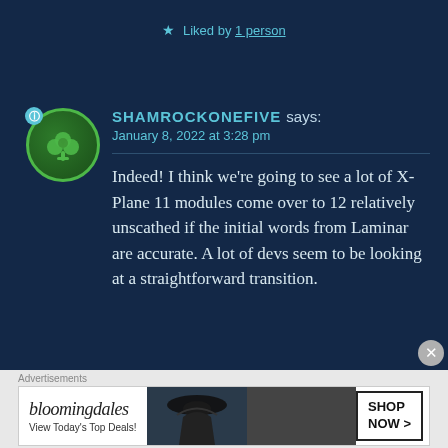★ Liked by 1 person
SHAMROCKONEFIVE says: January 8, 2022 at 3:28 pm
Indeed! I think we're going to see a lot of X-Plane 11 modules come over to 12 relatively unscathed if the initial words from Laminar are accurate. A lot of devs seem to be looking at a straightforward transition.
Advertisements
[Figure (screenshot): Bloomingdale's advertisement banner with logo, 'View Today's Top Deals!' tagline, woman in hat photo, and 'SHOP NOW >' button]